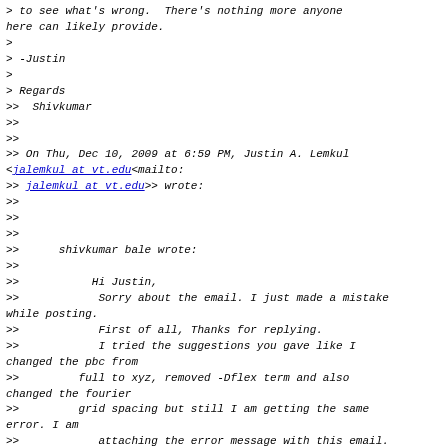> to see what's wrong.  There's nothing more anyone here can likely provide.
>
> -Justin
>
> Regards
>>  Shivkumar
>>
>>
>> On Thu, Dec 10, 2009 at 6:59 PM, Justin A. Lemkul <jalemkul at vt.edu<mailto:
>> jalemkul at vt.edu>> wrote:
>>
>>
>>
>>      shivkumar bale wrote:
>>
>>           Hi Justin,
>>            Sorry about the email. I just made a mistake while posting.
>>            First of all, Thanks for replying.
>>            I tried the suggestions you gave like I changed the pbc from
>>         full to xyz, removed -Dflex term and also changed the fourier
>>         grid spacing but still I am getting the same error. I am
>>            attaching the error message with this email. Have a look at it.
>>         If you need any more information let me know.